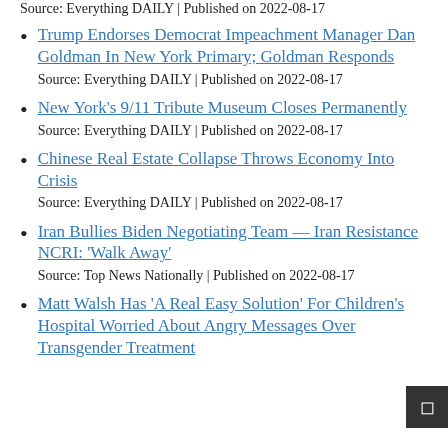Source: Everything DAILY | Published on 2022-08-17
Trump Endorses Democrat Impeachment Manager Dan Goldman In New York Primary; Goldman Responds
Source: Everything DAILY | Published on 2022-08-17
New York’s 9/11 Tribute Museum Closes Permanently
Source: Everything DAILY | Published on 2022-08-17
Chinese Real Estate Collapse Throws Economy Into Crisis
Source: Everything DAILY | Published on 2022-08-17
Iran Bullies Biden Negotiating Team — Iran Resistance NCRI: ‘Walk Away’
Source: Top News Nationally | Published on 2022-08-17
Matt Walsh Has ‘A Real Easy Solution’ For Children’s Hospital Worried About Angry Messages Over Transgender Treatment